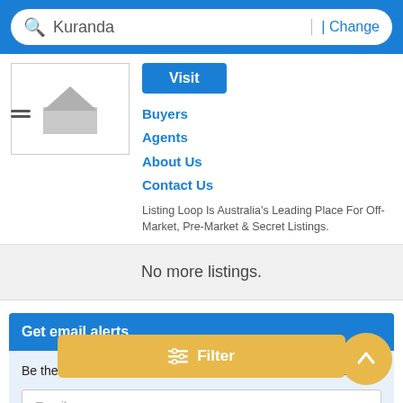Kuranda | Change
[Figure (screenshot): House placeholder thumbnail image with grey house silhouette on white background]
Visit
Buyers
Agents
About Us
Contact Us
Listing Loop Is Australia's Leading Place For Off-Market, Pre-Market & Secret Listings.
No more listings.
Get email alerts
Be the first to know about new properties matching your search
Email
Filter